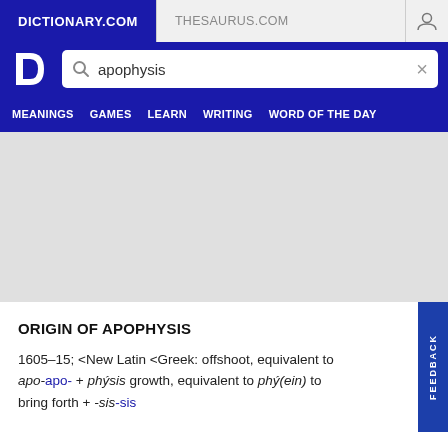DICTIONARY.COM   THESAURUS.COM
[Figure (screenshot): Dictionary.com logo and search bar with 'apophysis' query]
MEANINGS   GAMES   LEARN   WRITING   WORD OF THE DAY
ORIGIN OF APOPHYSIS
1605–15; <New Latin <Greek: offshoot, equivalent to apo-apo- + phýsis growth, equivalent to phý(ein) to bring forth + -sis-sis